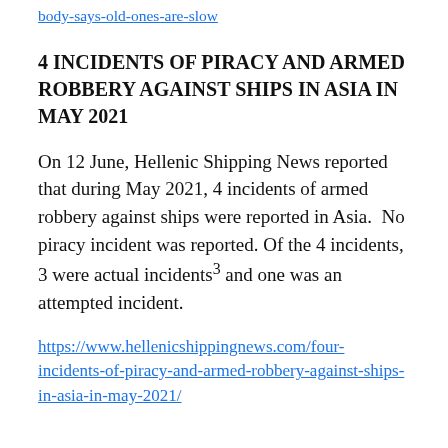body-says-old-ones-are-slow
4 INCIDENTS OF PIRACY AND ARMED ROBBERY AGAINST SHIPS IN ASIA IN MAY 2021
On 12 June, Hellenic Shipping News reported that during May 2021, 4 incidents of armed robbery against ships were reported in Asia.  No piracy incident was reported. Of the 4 incidents, 3 were actual incidents³ and one was an attempted incident.
https://www.hellenicshippingnews.com/four-incidents-of-piracy-and-armed-robbery-against-ships-in-asia-in-may-2021/